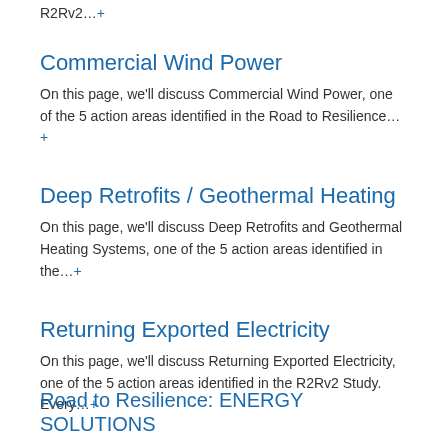R2Rv2…+
Commercial Wind Power
On this page, we'll discuss Commercial Wind Power, one of the 5 action areas identified in the Road to Resilience…+
Deep Retrofits / Geothermal Heating
On this page, we'll discuss Deep Retrofits and Geothermal Heating Systems, one of the 5 action areas identified in the…+
Returning Exported Electricity
On this page, we'll discuss Returning Exported Electricity, one of the 5 action areas identified in the R2Rv2 Study. Every…+
Road to Resilience: ENERGY SOLUTIONS